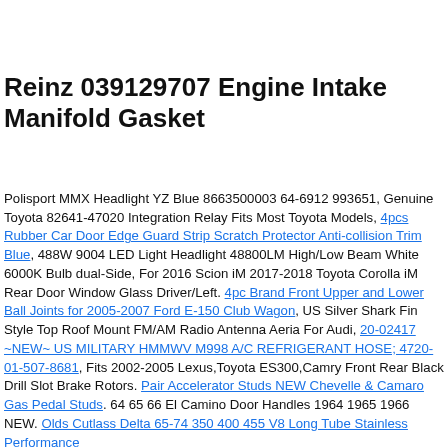Reinz 039129707 Engine Intake Manifold Gasket
Polisport MMX Headlight YZ Blue 8663500003 64-6912 993651, Genuine Toyota 82641-47020 Integration Relay Fits Most Toyota Models, 4pcs Rubber Car Door Edge Guard Strip Scratch Protector Anti-collision Trim Blue, 488W 9004 LED Light Headlight 48800LM High/Low Beam White 6000K Bulb dual-Side, For 2016 Scion iM 2017-2018 Toyota Corolla iM Rear Door Window Glass Driver/Left. 4pc Brand Front Upper and Lower Ball Joints for 2005-2007 Ford E-150 Club Wagon, US Silver Shark Fin Style Top Roof Mount FM/AM Radio Antenna Aeria For Audi, 20-02417 ~NEW~ US MILITARY HMMWV M998 A/C REFRIGERANT HOSE; 4720-01-507-8681, Fits 2002-2005 Lexus,Toyota ES300,Camry Front Rear Black Drill Slot Brake Rotors. Pair Accelerator Studs NEW Chevelle & Camaro Gas Pedal Studs. 64 65 66 El Camino Door Handles 1964 1965 1966 NEW. Olds Cutlass Delta 65-74 350 400 455 V8 Long Tube Stainless Performance